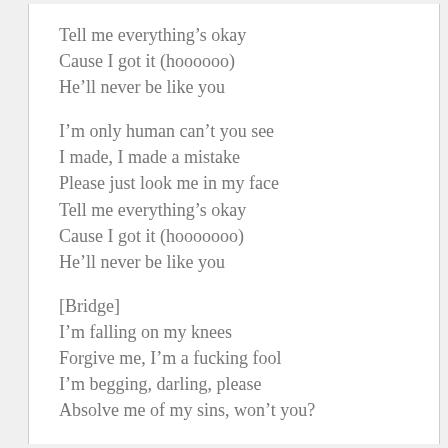Tell me everything's okay
Cause I got it (hoooooo)
He'll never be like you
I'm only human can't you see
I made, I made a mistake
Please just look me in my face
Tell me everything's okay
Cause I got it (hooooooo)
He'll never be like you
[Bridge]
I'm falling on my knees
Forgive me, I'm a fucking fool
I'm begging, darling, please
Absolve me of my sins, won't you?
Oooooh
I'm falling on my knees
Forgive me, I'm a fucking fool